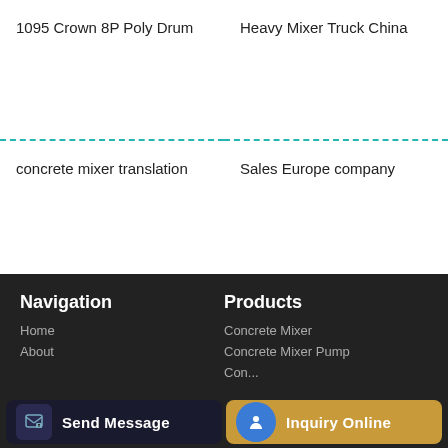1095 Crown 8P Poly Drum
Heavy Mixer Truck China
concrete mixer translation
Sales Europe company
Navigation
Products
Home
About
Concrete Mixer
Concrete Mixer Pump
Con...
Send Message
Inquiry Online